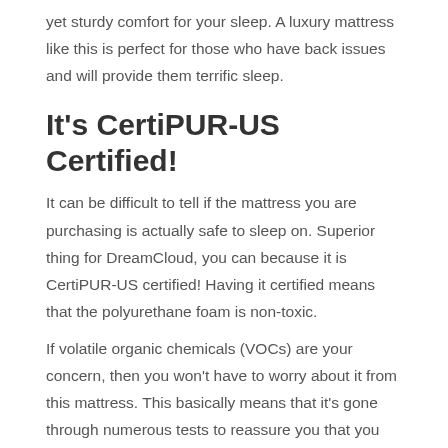yet sturdy comfort for your sleep. A luxury mattress like this is perfect for those who have back issues and will provide them terrific sleep.
It's CertiPUR-US Certified!
It can be difficult to tell if the mattress you are purchasing is actually safe to sleep on. Superior thing for DreamCloud, you can because it is CertiPUR-US certified! Having it certified means that the polyurethane foam is non-toxic.
If volatile organic chemicals (VOCs) are your concern, then you won't have to worry about it from this mattress. This basically means that it's gone through numerous tests to reassure you that you can sleep with no worries about the DreamCloud mattress.
Benefits of a Hybrid Mattress